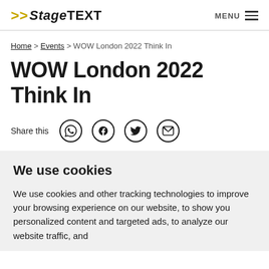>> StageTEXT  MENU
Home > Events > WOW London 2022 Think In
WOW London 2022 Think In
Share this
We use cookies
We use cookies and other tracking technologies to improve your browsing experience on our website, to show you personalized content and targeted ads, to analyze our website traffic, and